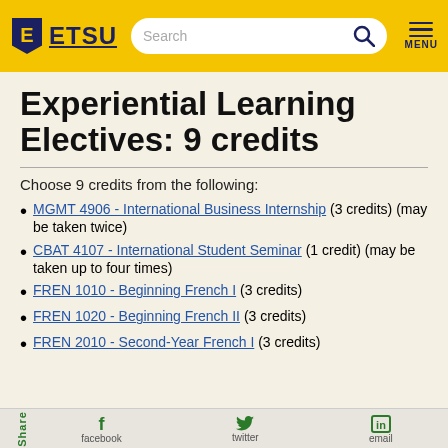ETSU | Search | MENU
Experiential Learning Electives: 9 credits
Choose 9 credits from the following:
MGMT 4906 - International Business Internship (3 credits) (may be taken twice)
CBAT 4107 - International Student Seminar (1 credit) (may be taken up to four times)
FREN 1010 - Beginning French I (3 credits)
FREN 1020 - Beginning French II (3 credits)
FREN 2010 - Second-Year French I (3 credits)
Share | facebook | twitter | email